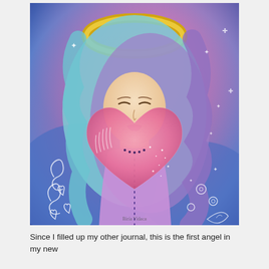[Figure (illustration): Watercolor painting of an angel with blue and purple flowing hair, a golden halo, closed eyes with pink lips slightly pursed, holding a large glittery pink heart. Background is a cosmic mix of pink, blue and purple with white decorative swirls, hearts, stars and floral motifs. Artist signature visible at the bottom.]
Since I filled up my other journal, this is the first angel in my new